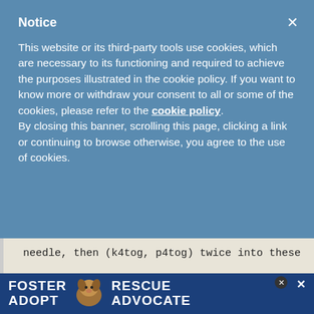Notice
This website or its third-party tools use cookies, which are necessary to its functioning and required to achieve the purposes illustrated in the cookie policy. If you want to know more or withdraw your consent to all or some of the cookies, please refer to the cookie policy. By closing this banner, scrolling this page, clicking a link or continuing to browse otherwise, you agree to the use of cookies.
needle, then (k4tog, p4tog) twice into these same 4 sts; rep from * to last 2 sts, k2.
Rep rows 1-4.
[Figure (infographic): Dog adoption advertisement banner with text FOSTER ADOPT RESCUE ADVOCATE and image of a beagle dog]